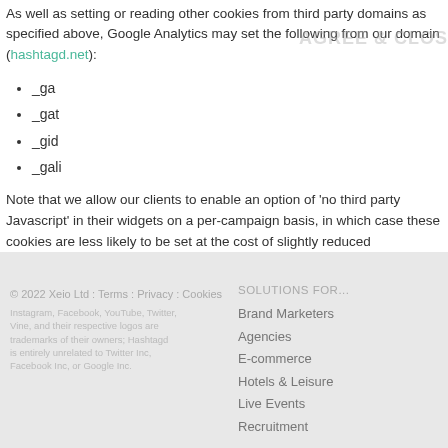As well as setting or reading other cookies from third party domains as specified above, Google Analytics may set the following from our domain (hashtagd.net):
_ga
_gat
_gid
_gali
Note that we allow our clients to enable an option of 'no third party Javascript' in their widgets on a per-campaign basis, in which case these cookies are less likely to be set at the cost of slightly reduced functionality for you, especially with video.
© 2022 Xeio Ltd : Terms : Privacy : Cookies
Instagram, Facebook, YouTube, Twitter, Vine, and their respective logos are trademarks of their owners; Hashtagd is entirely unrelated to Twitter Inc, Facebook Inc, or Google Inc.
SOLUTIONS FOR...
Brand Marketers
Agencies
E-commerce
Hotels & Leisure
Live Events
Recruitment